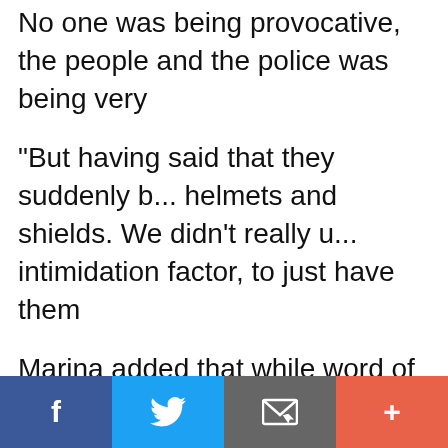No one was being provocative, the people and the police was being very [...]
“But having said that they suddenly brought out helmets and shields. We didn’t really [need] the intimidation factor, to just have them [...]
Marina added that while word of Bers[ih’s] directive for the crowd to disperse ha[d ...] wanted to get closer to the barricade[s ...]
»
[Figure (other): Social sharing footer bar with four buttons: Facebook (f), Twitter (bird icon), Email (envelope icon), and a plus/more button]